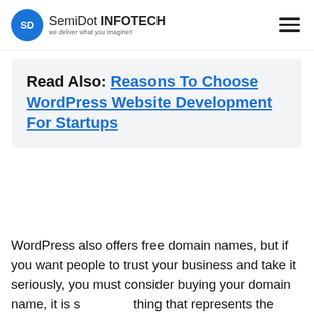SemiDot INFOTECH — we deliver what you imagine!!
Read Also: Reasons To Choose WordPress Website Development For Startups
WordPress also offers free domain names, but if you want people to trust your business and take it seriously, you must consider buying your domain name, it is something that represents the intention and purpose of your business. You must ensure the safety of your personal information while purchasing the domain name. There are a few sites that record your personal information which can be used for some business...